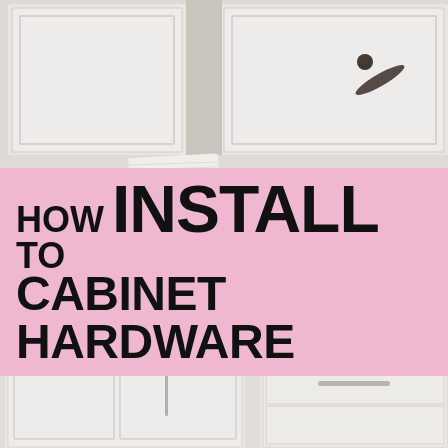[Figure (photo): Bright white kitchen with farmhouse sink, white shaker cabinets with chrome/brushed nickel pulls, white subway tile backsplash, potted green plant, pink flowers in a vase, green spray bottle, and a round woven tray on the counter. Upper cabinets visible at top with a dark oil-rubbed bronze knob/pull.]
HOW TO INSTALL CABINET HARDWARE